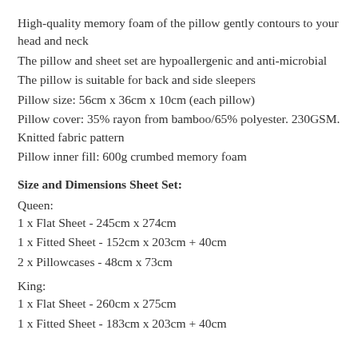High-quality memory foam of the pillow gently contours to your head and neck
The pillow and sheet set are hypoallergenic and anti-microbial
The pillow is suitable for back and side sleepers
Pillow size: 56cm x 36cm x 10cm (each pillow)
Pillow cover: 35% rayon from bamboo/65% polyester. 230GSM. Knitted fabric pattern
Pillow inner fill: 600g crumbed memory foam
Size and Dimensions Sheet Set:
Queen:
1 x Flat Sheet - 245cm x 274cm
1 x Fitted Sheet - 152cm x 203cm + 40cm
2 x Pillowcases - 48cm x 73cm
King:
1 x Flat Sheet - 260cm x 275cm
1 x Fitted Sheet - 183cm x 203cm + 40cm